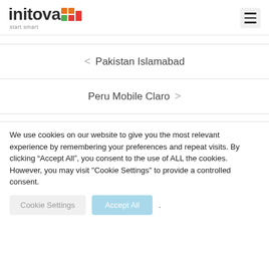initova start smart
< Pakistan Islamabad
Peru Mobile Claro >
We use cookies on our website to give you the most relevant experience by remembering your preferences and repeat visits. By clicking “Accept All”, you consent to the use of ALL the cookies. However, you may visit "Cookie Settings" to provide a controlled consent.